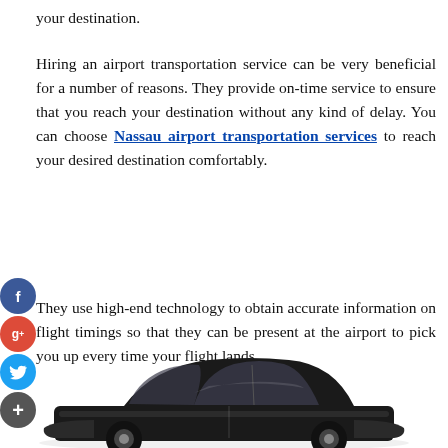your destination.
Hiring an airport transportation service can be very beneficial for a number of reasons. They provide on-time service to ensure that you reach your destination without any kind of delay. You can choose Nassau airport transportation services to reach your desired destination comfortably.
They use high-end technology to obtain accurate information on flight timings so that they can be present at the airport to pick you up every time your flight lands.
[Figure (illustration): Social media sharing icons: Facebook (blue circle with f), Google+ (red circle with g+), Twitter (blue circle with bird), and a dark plus button]
[Figure (photo): A black luxury sedan car viewed from a slightly elevated front-side angle]